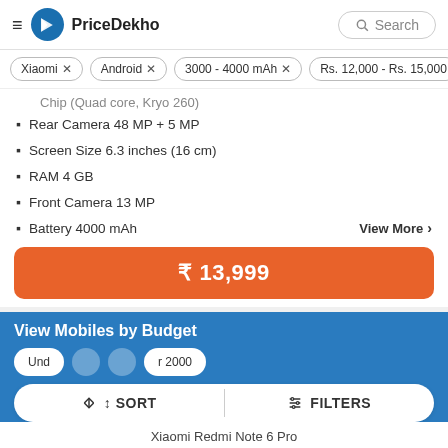PriceDekho
Xiaomi ×
Android ×
3000 - 4000 mAh ×
Rs. 12,000 - Rs. 15,000
Rear Camera 48 MP + 5 MP
Screen Size 6.3 inches (16 cm)
RAM 4 GB
Front Camera 13 MP
Battery 4000 mAh
View More >
₹ 13,999
View Mobiles by Budget
SORT   FILTERS
Xiaomi Redmi Note 6 Pro